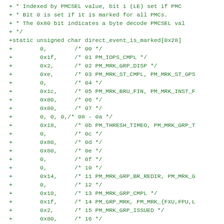+ * Indexed by PMCSEL value, bit i (LE) set if PMC
+ * Bit 0 is set if it is marked for all PMCs.
+ * The 0x80 bit indicates a byte decode PMCSEL val
+ */
+static unsigned char direct_event_is_marked[0x28]
+        0,        /* 00 */
+        0x1f,     /* 01 PM_IOPS_CMPL */
+        0x2,      /* 02 PM_MRK_GRP_DISP */
+        0xe,      /* 03 PM_MRK_ST_CMPL, PM_MRK_ST_GPS
+        0,        /* 04 */
+        0x1c,     /* 05 PM_MRK_BRU_FIN, PM_MRK_INST_F
+        0x80,     /* 06 */
+        0x80,     /* 07 */
+        0, 0, 0,/* 08 - 0a */
+        0x18,     /* 0b PM_THRESH_TIMEO, PM_MRK_GRP_T
+        0,        /* 0c */
+        0x80,     /* 0d */
+        0x80,     /* 0e */
+        0,        /* 0f */
+        0,        /* 10 */
+        0x14,     /* 11 PM_MRK_GRP_BR_REDIR, PM_MRK_G
+        0,        /* 12 */
+        0x10,     /* 13 PM_MRK_GRP_CMPL */
+        0x1f,     /* 14 PM_GRP_MRK, PM_MRK_{FXU,FPU,L
+        0x2,      /* 15 PM_MRK_GRP_ISSUED */
+        0x80,     /* 16 */
+        0x80,     /* 17 */
+        0, 0, 0, 0, 0,
+        0x80,     /* 1d */
+        0x80,     /* 1e */